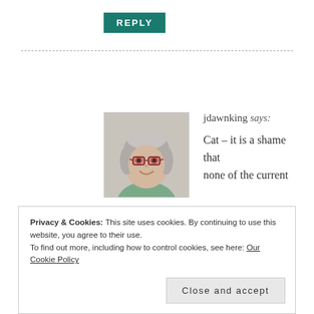[Figure (other): REPLY button — teal/dark-green rectangle with white bold uppercase text 'REPLY']
[Figure (photo): Avatar photo of a woman with gray hair, glasses, and a friendly smile]
jdawnking says: Cat – it is a shame that none of the current
NASCAR   February 7, 2015 at 12:04 am men look like David G. Not even close! I bet that Miss Zoe could write a tall, dark, and handsome driver. What do you think?
Privacy & Cookies: This site uses cookies. By continuing to use this website, you agree to their use.
To find out more, including how to control cookies, see here: Our Cookie Policy
Close and accept